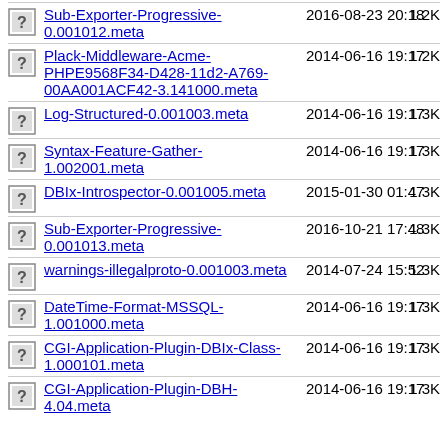Sub-Exporter-Progressive-0.001012.meta | 2016-08-23 20:18 | 1.2K
Plack-Middleware-Acme-PHPE9568F34-D428-11d2-A769-00AA001ACF42-3.141000.meta | 2014-06-16 19:17 | 1.2K
Log-Structured-0.001003.meta | 2014-06-16 19:17 | 1.3K
Syntax-Feature-Gather-1.002001.meta | 2014-06-16 19:17 | 1.3K
DBIx-Introspector-0.001005.meta | 2015-01-30 01:47 | 1.3K
Sub-Exporter-Progressive-0.001013.meta | 2016-10-21 17:48 | 1.3K
warnings-illegalproto-0.001003.meta | 2014-07-24 15:52 | 1.3K
DateTime-Format-MSSQL-1.001000.meta | 2014-06-16 19:17 | 1.3K
CGI-Application-Plugin-DBIx-Class-1.000101.meta | 2014-06-16 19:17 | 1.3K
CGI-Application-Plugin-DBH-4.04.meta | 2014-06-16 19:17 | 1.3K